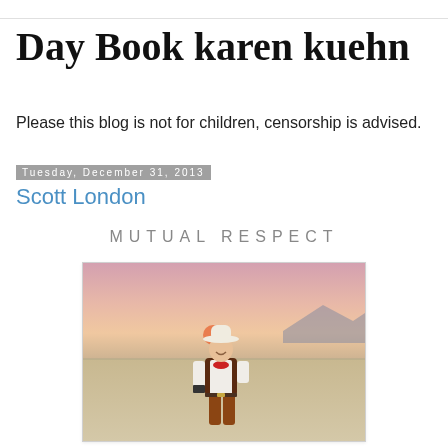Day Book karen kuehn
Please this blog is not for children, censorship is advised.
Tuesday, December 31, 2013
Scott London
MUTUAL RESPECT
[Figure (photo): Man dressed as a cowboy with white hat, dark vest, red neckerchief, and leather pants, standing on a desert flat (Burning Man playa) at sunset with mountains in the background, holding a camera.]